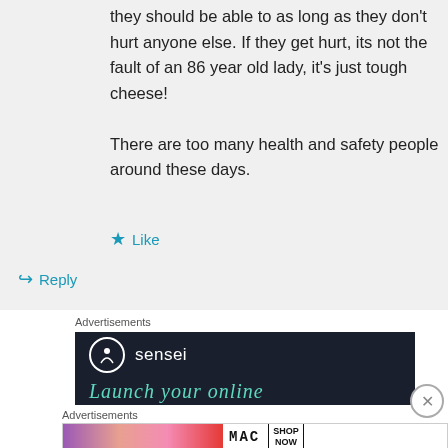they should be able to as long as they don't hurt anyone else. If they get hurt, its not the fault of an 86 year old lady, it's just tough cheese!

There are too many health and safety people around these days.
★ Like
↪ Reply
Advertisements
[Figure (screenshot): Sensei advertisement banner with dark navy background showing sensei logo (circle with tree icon) and the text 'Launch your online' in teal italic]
Advertisements
[Figure (screenshot): MAC cosmetics advertisement showing colorful lipsticks (purple, peach, pink, red) with MAC logo and SHOP NOW button]